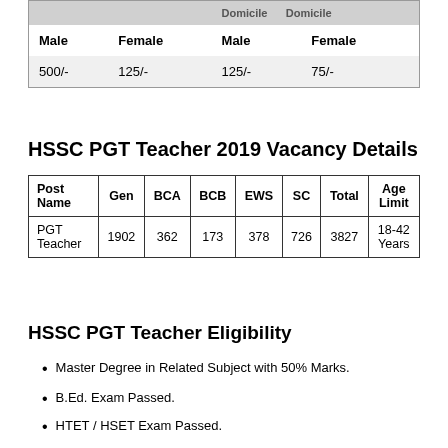| Male | Female | Male | Female |
| --- | --- | --- | --- |
| 500/- | 125/- | 125/- | 75/- |
HSSC PGT Teacher 2019 Vacancy Details
| Post Name | Gen | BCA | BCB | EWS | SC | Total | Age Limit |
| --- | --- | --- | --- | --- | --- | --- | --- |
| PGT Teacher | 1902 | 362 | 173 | 378 | 726 | 3827 | 18-42 Years |
HSSC PGT Teacher Eligibility
Master Degree in Related Subject with 50% Marks.
B.Ed. Exam Passed.
HTET / HSET Exam Passed.